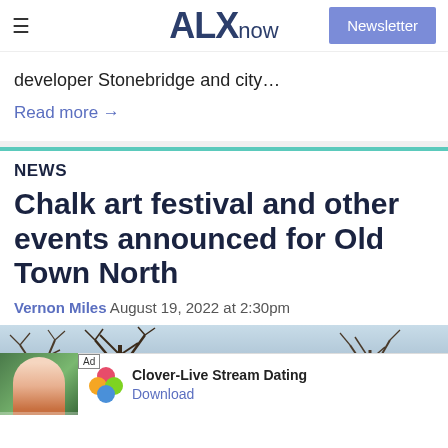ALXnow — Newsletter
developer Stonebridge and city…
Read more →
NEWS
Chalk art festival and other events announced for Old Town North
Vernon Miles  August 19, 2022 at 2:30pm
[Figure (photo): Outdoor winter scene with bare trees against a pale sky]
Ad  Clover-Live Stream Dating  Download